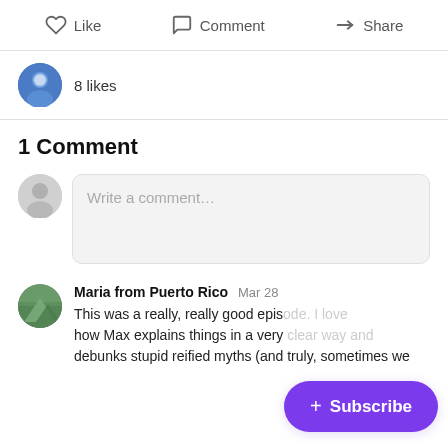Like  Comment  Share
8 likes
1 Comment
Write a comment...
Maria from Puerto Rico  Mar 28
This was a really, really good epis... how Max explains things in a very... debunks stupid reified myths (and truly, sometimes we...